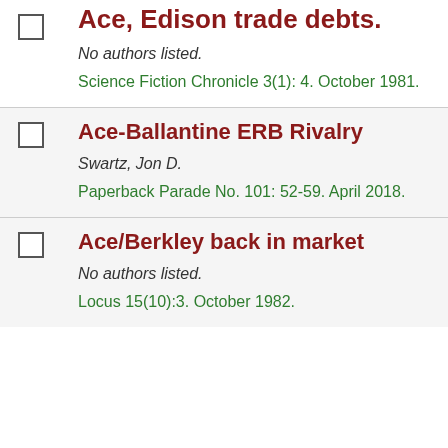Ace, Edison trade debts.
Ace-Ballantine ERB Rivalry
Ace/Berkley back in market